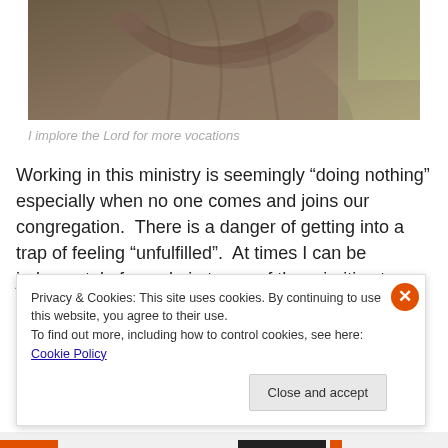[Figure (photo): Close-up of a bronze statue showing crossed hands/arms, with foliage visible in the background]
I implore the Lord for more vocations
Working in this ministry is seemingly “doing nothing” especially when no one comes and joins our congregation.  There is a danger of getting into a trap of feeling “unfulfilled”.  At times I can be judgmental of people in terms of the priorities to satisfy: material needs and the
Privacy & Cookies: This site uses cookies. By continuing to use this website, you agree to their use.
To find out more, including how to control cookies, see here: Cookie Policy